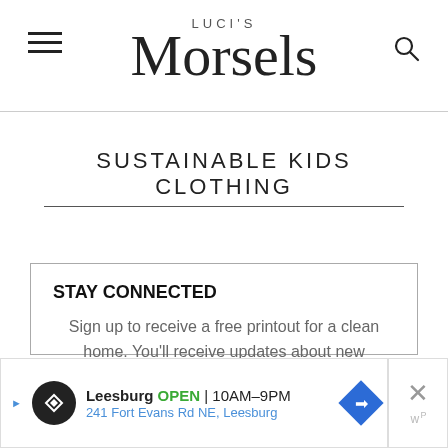LUCI'S Morsels
SUSTAINABLE KIDS CLOTHING
STAY CONNECTED
Sign up to receive a free printout for a clean home. You'll receive updates about new posts, favorite products, and helpful tips for living purposefully!
[Figure (other): Advertisement banner: Leesburg OPEN 10AM-9PM, 241 Fort Evans Rd NE, Leesburg]